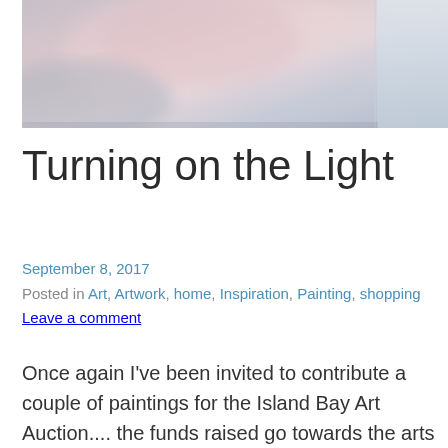[Figure (photo): Abstract painting with soft hues of pink, lavender, and blue — a blurred, luminous artwork suggesting light and atmosphere. A white vertical element is visible on the right side.]
Turning on the Light
September 8, 2017
Posted in Art, Artwork, home, Inspiration, Painting, shopping
Leave a comment
Once again I've been invited to contribute a couple of paintings for the Island Bay Art Auction.... the funds raised go towards the arts